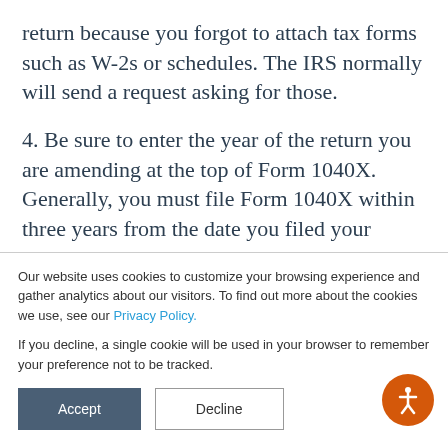return because you forgot to attach tax forms such as W-2s or schedules. The IRS normally will send a request asking for those.
4. Be sure to enter the year of the return you are amending at the top of Form 1040X. Generally, you must file Form 1040X within three years from the date you filed your original return or within two
Our website uses cookies to customize your browsing experience and gather analytics about our visitors. To find out more about the cookies we use, see our Privacy Policy.

If you decline, a single cookie will be used in your browser to remember your preference not to be tracked.